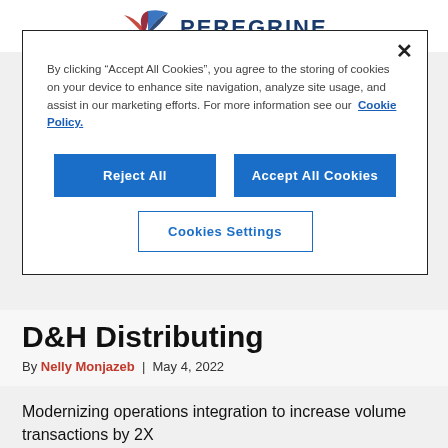PEREGRINE
[Figure (logo): Peregrine company logo with stylized bird icon and text PEREGRINE]
By clicking "Accept All Cookies", you agree to the storing of cookies on your device to enhance site navigation, analyze site usage, and assist in our marketing efforts. For more information see our Cookie Policy.
Reject All
Accept All Cookies
Cookies Settings
D&H Distributing
By Nelly Monjazeb | May 4, 2022
Modernizing operations integration to increase volume transactions by 2X